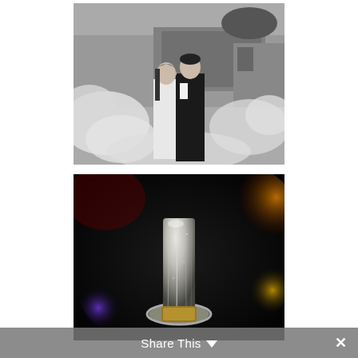[Figure (photo): Black and white wedding photo of a couple kissing outdoors surrounded by smoke, with a truck or building visible in the background.]
[Figure (photo): Close-up macro photo of a wedding ring standing upright on a reflective surface, with colorful bokeh lights in the background including purple, orange, and yellow tones on a dark background.]
Share This ˅  ✕